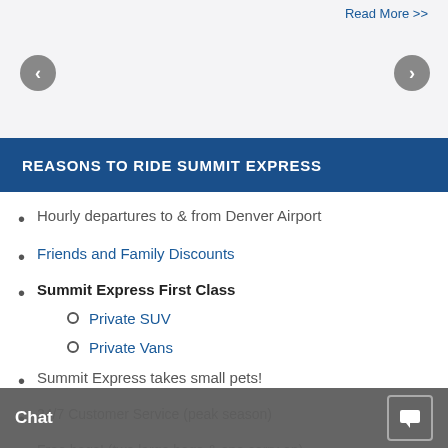Read More >>
REASONS TO RIDE SUMMIT EXPRESS
Hourly departures to & from Denver Airport
Friends and Family Discounts
Summit Express First Class
Private SUV
Private Vans
Summit Express takes small pets!
24/7 Customer Service (peak season)
Free bags! (two large bags & one carry on)